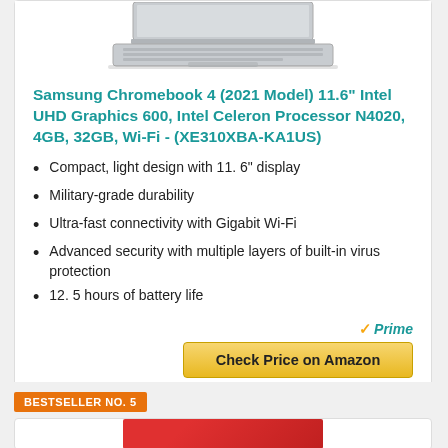[Figure (photo): Partial view of a silver laptop (Samsung Chromebook) showing keyboard and bottom half of screen, cropped at top]
Samsung Chromebook 4 (2021 Model) 11.6" Intel UHD Graphics 600, Intel Celeron Processor N4020, 4GB, 32GB, Wi-Fi - (XE310XBA-KA1US)
Compact, light design with 11. 6" display
Military-grade durability
Ultra-fast connectivity with Gigabit Wi-Fi
Advanced security with multiple layers of built-in virus protection
12. 5 hours of battery life
Prime
Check Price on Amazon
BESTSELLER NO. 5
[Figure (photo): Partial view of another laptop product, mostly cropped, showing colorful lid]